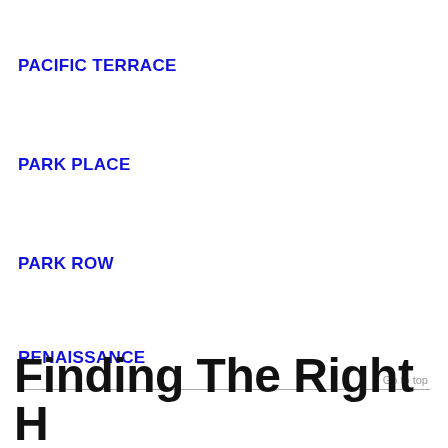PACIFIC TERRACE
PARK PLACE
PARK ROW
RENAISSANCE
Go to top
Finding The Right H…